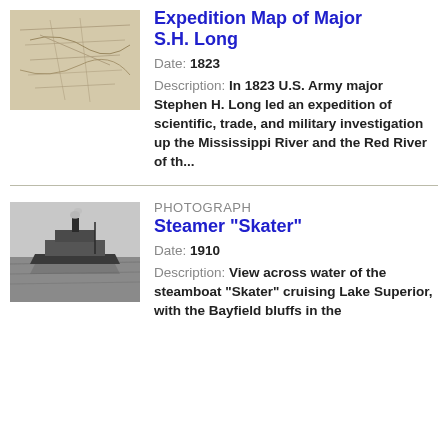[Figure (illustration): Small thumbnail of a historical expedition map with faint sketch lines]
Expedition Map of Major S.H. Long
Date: 1823
Description: In 1823 U.S. Army major Stephen H. Long led an expedition of scientific, trade, and military investigation up the Mississippi River and the Red River of th...
[Figure (photo): Black and white photograph of the steamboat Skater on Lake Superior]
PHOTOGRAPH
Steamer "Skater"
Date: 1910
Description: View across water of the steamboat "Skater" cruising Lake Superior, with the Bayfield bluffs in the